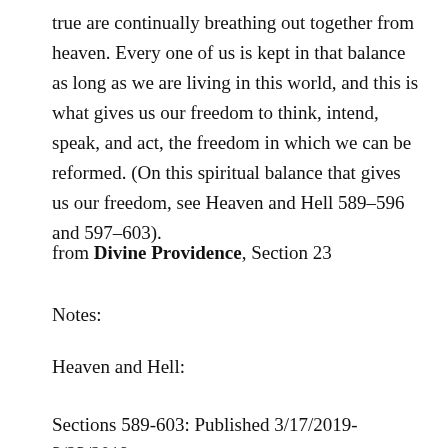true are continually breathing out together from heaven. Every one of us is kept in that balance as long as we are living in this world, and this is what gives us our freedom to think, intend, speak, and act, the freedom in which we can be reformed. (On this spiritual balance that gives us our freedom, see Heaven and Hell 589–596 and 597–603).
from Divine Providence, Section 23
Notes:
Heaven and Hell:
Sections 589-603: Published 3/17/2019-3/23/2019